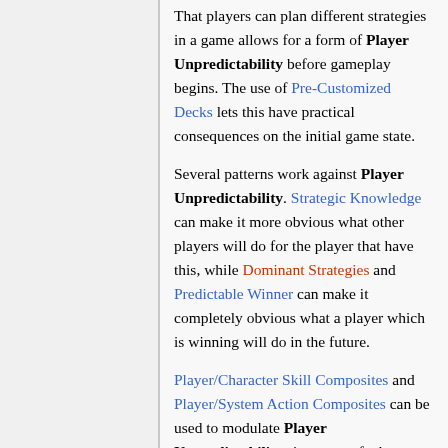That players can plan different strategies in a game allows for a form of Player Unpredictability before gameplay begins. The use of Pre-Customized Decks lets this have practical consequences on the initial game state.
Several patterns work against Player Unpredictability. Strategic Knowledge can make it more obvious what other players will do for the player that have this, while Dominant Strategies and Predictable Winner can make it completely obvious what a player which is winning will do in the future.
Player/Character Skill Composites and Player/System Action Composites can be used to modulate Player Unpredictability since part of what a player does or how well that player does